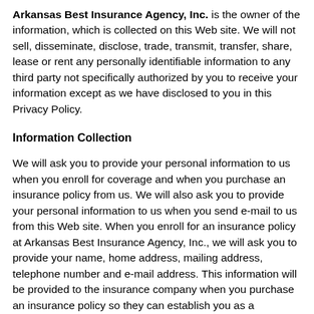Arkansas Best Insurance Agency, Inc. is the owner of the information, which is collected on this Web site. We will not sell, disseminate, disclose, trade, transmit, transfer, share, lease or rent any personally identifiable information to any third party not specifically authorized by you to receive your information except as we have disclosed to you in this Privacy Policy.
Information Collection
We will ask you to provide your personal information to us when you enroll for coverage and when you purchase an insurance policy from us. We will also ask you to provide your personal information to us when you send e-mail to us from this Web site. When you enroll for an insurance policy at Arkansas Best Insurance Agency, Inc., we will ask you to provide your name, home address, mailing address, telephone number and e-mail address. This information will be provided to the insurance company when you purchase an insurance policy so they can establish you as a policyholder.
We will maintain a record of your information at the offices of Arkansas Best Insurance Agency, Inc. so we can provide you with policyholder service. The employees of Arkansas Best Insurance...